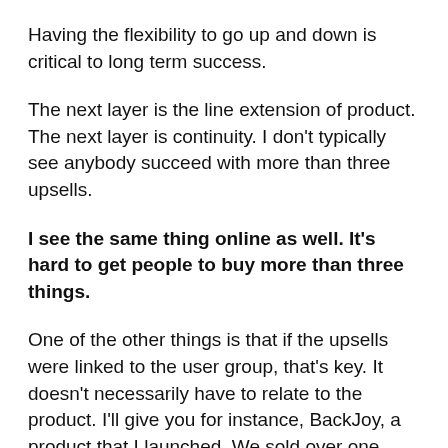Having the flexibility to go up and down is critical to long term success.
The next layer is the line extension of product. The next layer is continuity. I don't typically see anybody succeed with more than three upsells.
I see the same thing online as well. It's hard to get people to buy more than three things.
One of the other things is that if the upsells were linked to the user group, that's key. It doesn't necessarily have to relate to the product. I'll give you for instance, BackJoy, a product that I launched. We sold over one million units.
It's an orthotic that you sit on that corrects your